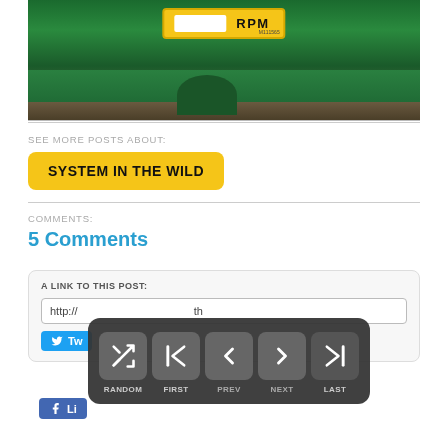[Figure (photo): Green tractor engine/body close-up showing RPM gauge panel with yellow border, tractor green body, and ground/soil in background]
SEE MORE POSTS ABOUT:
SYSTEM IN THE WILD
COMMENTS:
5 Comments
A LINK TO THIS POST:
http://...th
[Figure (screenshot): Navigation overlay with dark background showing 5 buttons: RANDOM (shuffle icon), FIRST (skip to start icon), PREV (left arrow), NEXT (right arrow), LAST (skip to end icon)]